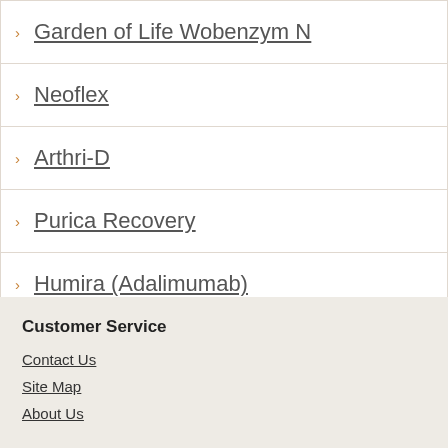Garden of Life Wobenzym N
Neoflex
Arthri-D
Purica Recovery
Humira (Adalimumab)
Customer Service
Contact Us
Site Map
About Us